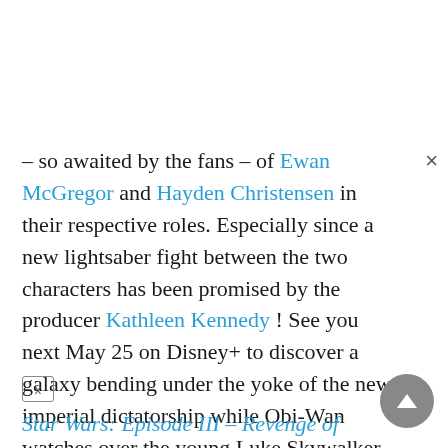– so awaited by the fans – of Ewan McGregor and Hayden Christensen in their respective roles. Especially since a new lightsaber fight between the two characters has been promised by the producer Kathleen Kennedy ! See you next May 25 on Disney+ to discover a galaxy bending under the yoke of the new imperial dictatorship while Obi-Wan watches over the young Luke Skywalker, entrusted to his uncle on the planet Tatooine...
Star Wars: Episode III – Revenge of the Sith by George Lucas with Hayden Christensen, Ewan